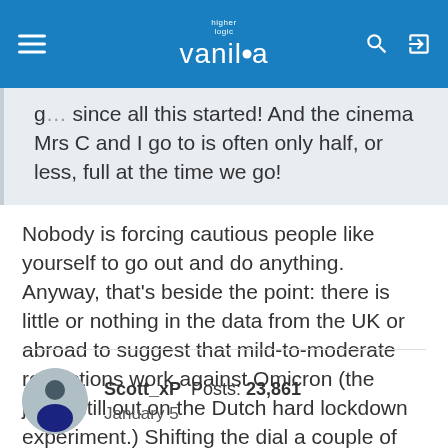higher logic vanilla
g... since all this started! And the cinema Mrs C and I go to is often only half, or less, full at the time we go!
Nobody is forcing cautious people like yourself to go out and do anything. Anyway, that's beside the point: there is little or nothing in the data from the UK or abroad to suggest that mild-to-moderate restrictions work against Omicron (the jury's still out on the Dutch hard lockdown experiment.) Shifting the dial a couple of notches one way or another is something-must-be-done-ism and is for show.
Scott_xP  Posts: 23,861  January 5